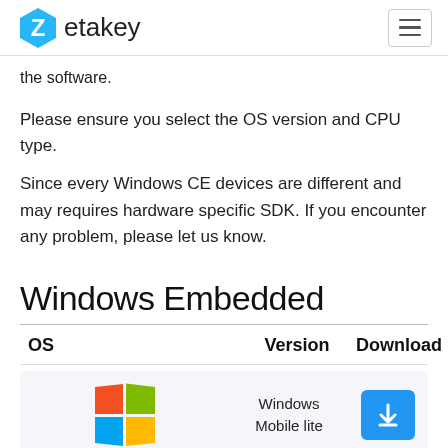Zetakey
the software.
Please ensure you select the OS version and CPU type.
Since every Windows CE devices are different and may requires hardware specific SDK. If you encounter any problem, please let us know.
Windows Embedded
| OS | Version | Download |
| --- | --- | --- |
| [Windows logo] | Windows Mobile lite | [download button] |